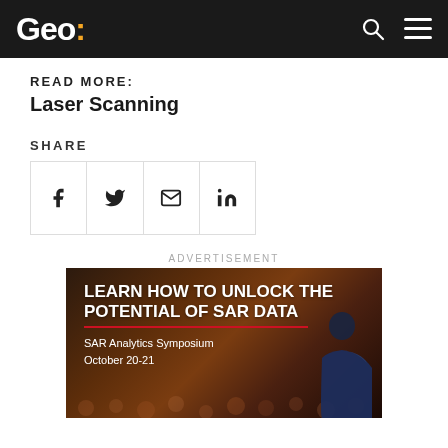Geo:
READ MORE:
Laser Scanning
SHARE
[Figure (other): Social share buttons for Facebook, Twitter, Email, and LinkedIn]
ADVERTISEMENT
[Figure (photo): Advertisement banner: LEARN HOW TO UNLOCK THE POTENTIAL OF SAR DATA — SAR Analytics Symposium, October 20-21. Dark background with speaker silhouette and blurred audience.]